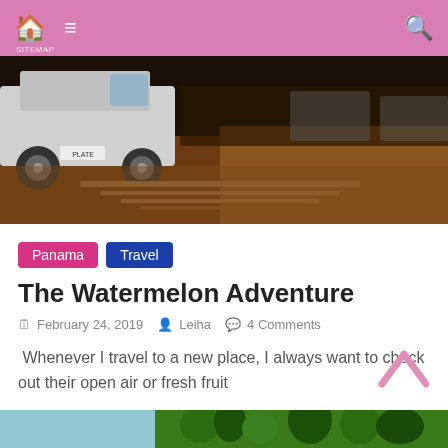Navigation bar with home, menu, and search icons
[Figure (photo): Nighttime photo of a parking area with a white SUV on the left and sandy/dirt ground with some markings visible]
Panama   Travel
The Watermelon Adventure
February 24, 2019   Leiha   4 Comments
Whenever I travel to a new place, I always want to check out their open air or fresh fruit
Read more
[Figure (photo): Bottom strip showing a nature/landscape scene with blue sky and green vegetation]